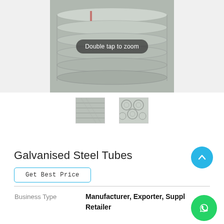[Figure (photo): Main product photo of galvanised steel tubes/pipes stacked together, with a 'Double tap to zoom' overlay button in the center]
[Figure (photo): Thumbnail 1: Side view of galvanised steel tubes stacked diagonally]
[Figure (photo): Thumbnail 2: Front/end view of galvanised steel tubes stacked in a bundle]
Galvanised Steel Tubes
Get Best Price
| Business Type |
| --- |
| Business Type | Manufacturer, Exporter, Supplier, Retailer |